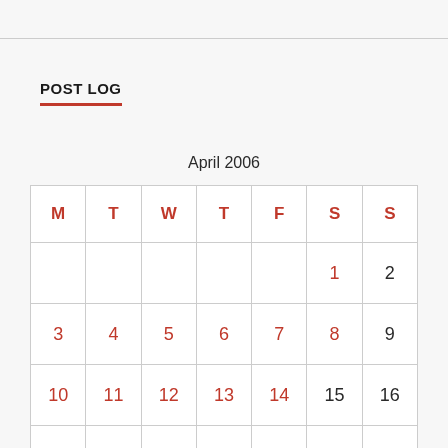POST LOG
April 2006
| M | T | W | T | F | S | S |
| --- | --- | --- | --- | --- | --- | --- |
|  |  |  |  |  | 1 | 2 |
| 3 | 4 | 5 | 6 | 7 | 8 | 9 |
| 10 | 11 | 12 | 13 | 14 | 15 | 16 |
| 17 | 18 | 19 | 20 | 21 | 22 | 23 |